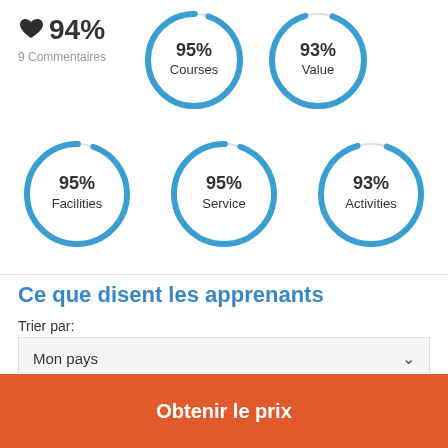[Figure (donut-chart): Courses]
[Figure (donut-chart): Value]
94%
9 Commentaires
[Figure (donut-chart): Facilities]
[Figure (donut-chart): Service]
[Figure (donut-chart): Activities]
Ce que disent les apprenants
Trier par:
Mon pays
Résultats de recherche 9 De 9 Tous les résultats
Obtenir le prix